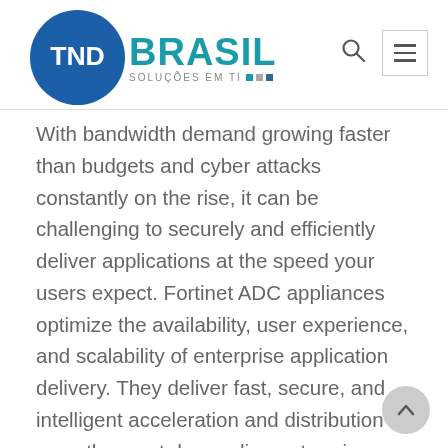TND BRASIL - SOLUÇÕES EM TI
With bandwidth demand growing faster than budgets and cyber attacks constantly on the rise, it can be challenging to securely and efficiently deliver applications at the speed your users expect. Fortinet ADC appliances optimize the availability, user experience, and scalability of enterprise application delivery. They deliver fast, secure, and intelligent acceleration and distribution of even the most demanding enterprise applications.
FortiADCs ensure application security and